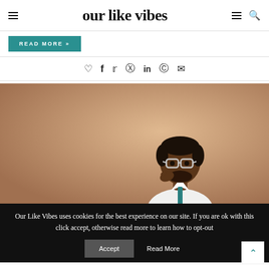our like vibes
READ MORE »
♡ f 🐦 𝗽 in © ✉
[Figure (photo): A man in a white shirt and glasses, posed against a warm beige/tan background, with his hand raised to his chin in a thoughtful pose.]
Our Like Vibes uses cookies for the best experience on our site. If you are ok with this click accept, otherwise read more to learn how to opt-out
Accept
Read More